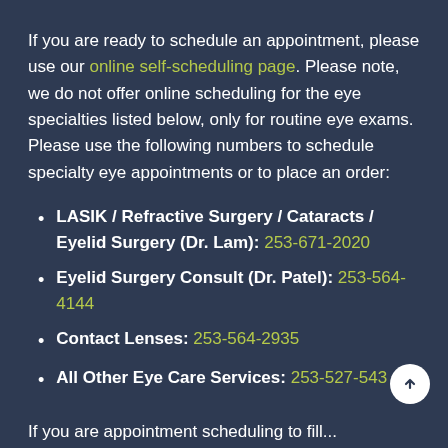If you are ready to schedule an appointment, please use our online self-scheduling page. Please note, we do not offer online scheduling for the eye specialties listed below, only for routine eye exams. Please use the following numbers to schedule specialty eye appointments or to place an order:
LASIK / Refractive Surgery / Cataracts / Eyelid Surgery (Dr. Lam): 253-671-2020
Eyelid Surgery Consult (Dr. Patel): 253-564-4144
Contact Lenses: 253-564-2935
All Other Eye Care Services: 253-527-543...
If you are appointment scheduling to fill...